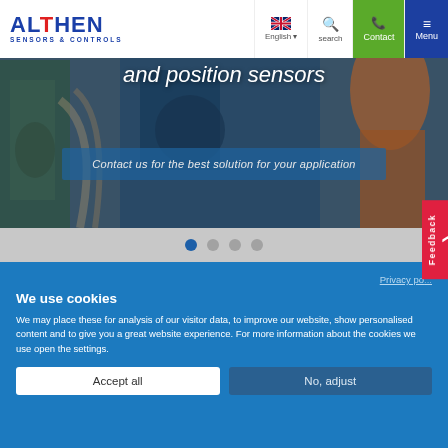[Figure (screenshot): Althen Sensors & Controls website header with logo, navigation bar (English language selector, search, Contact, Menu), and hero image showing industrial scene with text 'and position sensors' and a CTA button 'Contact us for the best solution for your application'. Slider dots below hero image. Red Feedback tab on right.]
Privacy po...
We use cookies
We may place these for analysis of our visitor data, to improve our website, show personalised content and to give you a great website experience. For more information about the cookies we use open the settings.
Accept all
No, adjust